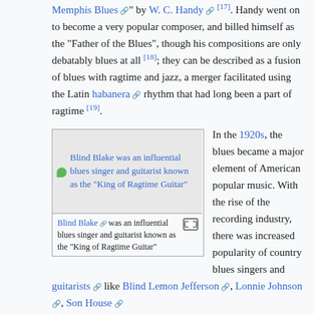Memphis Blues" by W. C. Handy [17]. Handy went on to become a very popular composer, and billed himself as the "Father of the Blues", though his compositions are only debatably blues at all [18]; they can be described as a fusion of blues with ragtime and jazz, a merger facilitated using the Latin habanera rhythm that had long been a part of ragtime [19].
[Figure (photo): Blind Blake was an influential blues singer and guitarist known as the 'King of Ragtime Guitar']
Blind Blake was an influential blues singer and guitarist known as the "King of Ragtime Guitar"
In the 1920s, the blues became a major element of American popular music. With the rise of the recording industry, there was increased popularity of country blues singers and guitarists like Blind Lemon Jefferson, Lonnie Johnson, Son House